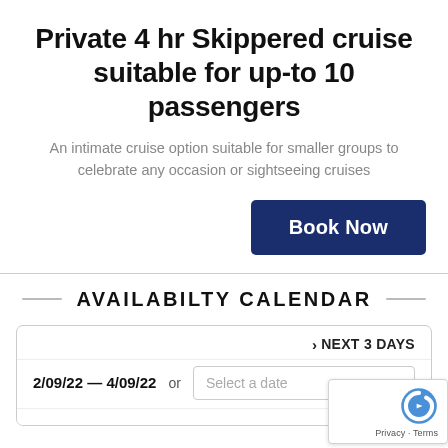Private 4 hr Skippered cruise suitable for up-to 10 passengers
An intimate cruise option suitable for smaller groups to celebrate any occasion or sightseeing cruises
Book Now
AVAILABILTY CALENDAR
NEXT 3 DAYS
2/09/22 — 4/09/22  or  Select a date